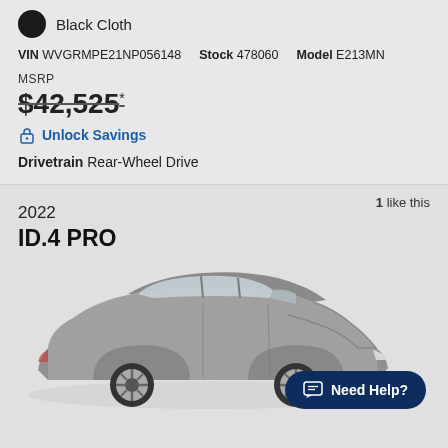Black Cloth
VIN WVGRMPE21NP056148   Stock 478060   Model E213MN
MSRP
$42,525*
Unlock Savings
Drivetrain Rear-Wheel Drive
1 like this
2022 ID.4 PRO
[Figure (photo): Side profile of a gray 2022 Volkswagen ID.4 PRO electric SUV on a light gray background]
Need Help?